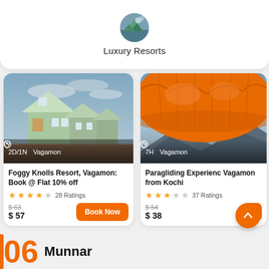Luxury Resorts
[Figure (photo): Luxury resort buildings with green exterior walls and a wooden deck, dusk sky]
2D/1N  Vagamon
Foggy Knolls Resort, Vagamon: Book @ Flat 10% off
28 Ratings
$ 63  $ 57
[Figure (photo): Close-up of an orange paraglider canopy against a blue sky above mountains]
7H  Vagamon
Paragliding Experience Vagamon from Kochi
37 Ratings
$ 54  $ 38
06  Munnar